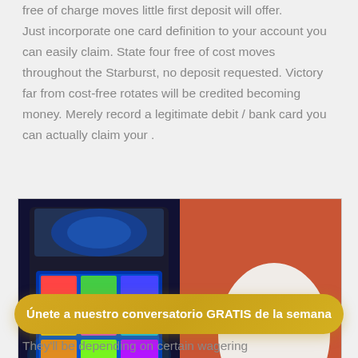free of charge moves little first deposit will offer. Just incorporate one card definition to your account you can easily claim. State four free of cost moves throughout the Starburst, no deposit requested. Victory far from cost-free rotates will be credited becoming money. Merely record a legitimate debit / bank card you can actually claim your .
[Figure (photo): Two-panel image: left panel shows colorful slot machines with glowing screens in a dark casino setting; right panel shows a man in a white shirt slumped/resting his head on a table against an orange/red wall.]
Únete a nuestro conversatorio GRATIS de la semana
They'll be depending on certain wagering